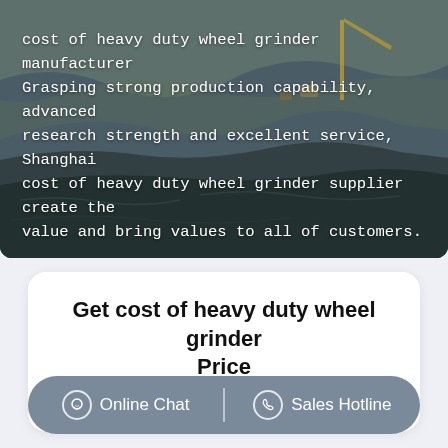[Figure (photo): Aerial view of a quarry/mining site with heavy machinery, earth mounds, and industrial equipment. Text overlay on dark rocky landscape.]
cost of heavy duty wheel grinder manufacturer Grasping strong production capability, advanced research strength and excellent service, Shanghai cost of heavy duty wheel grinder supplier create the value and bring values to all of customers.
Get cost of heavy duty wheel grinder Price
supplier@pfpew.com
Online Chat   Sales Hotline